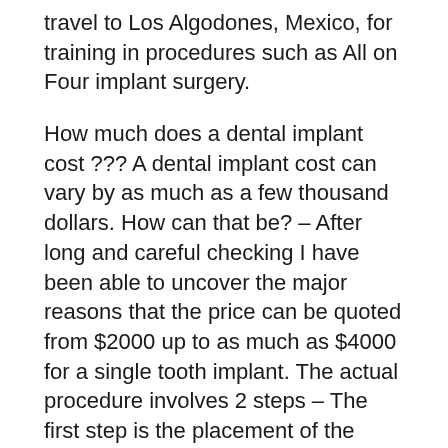travel to Los Algodones, Mexico, for training in procedures such as All on Four implant surgery.
How much does a dental implant cost ??? A dental implant cost can vary by as much as a few thousand dollars. How can that be? – After long and careful checking I have been able to uncover the major reasons that the price can be quoted from $2000 up to as much as $4000 for a single tooth implant. The actual procedure involves 2 steps – The first step is the placement of the implant ...
The cost of All-On-4 Implants averages $7000 to $24000 to get a full arch ... Cost is one of the biggest sticking points for many people who need dental care ...